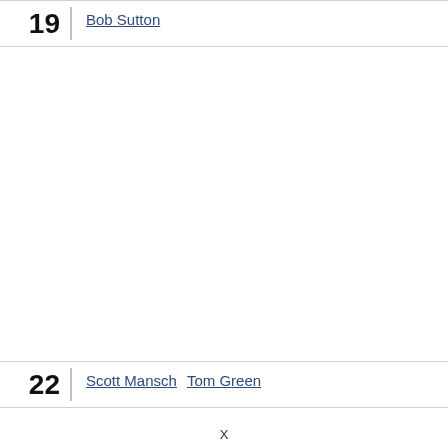19 Bob Sutton
22 Scott Mansch  Tom Green
X